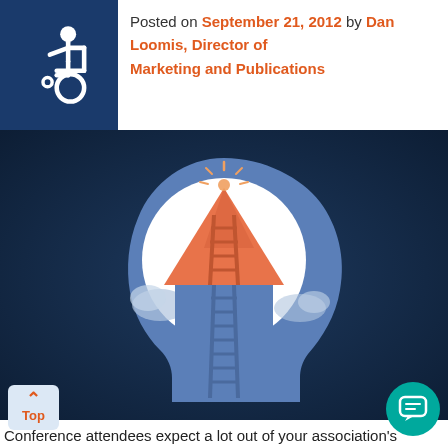Posted on September 21, 2012 by Dan Loomis, Director of Marketing and Publications
[Figure (illustration): Illustration of a human head silhouette in blue with a white circle inside containing an orange mountain/triangle with a ladder, symbolizing reaching goals or aspirations. Dark navy background.]
Conference attendees expect a lot out of your association's annual event, don't they? So, how do you make sure you are not only meeting your attendees' expectations, but exceeding them?